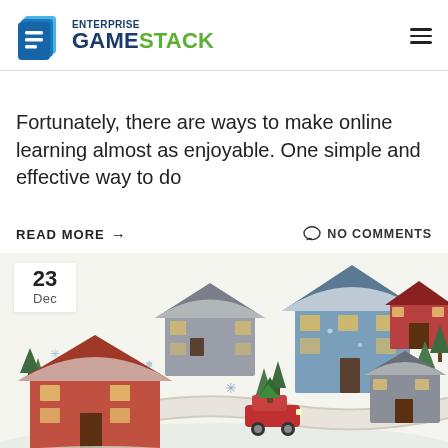Enterprise GameStack
Fortunately, there are ways to make online learning almost as enjoyable. One simple and effective way to do
READ MORE → NO COMMENTS
[Figure (illustration): Winter village scene with snowy houses, trees, a red car with Christmas tree on roof, and roads. Date badge showing '23 Dec' in top left corner.]